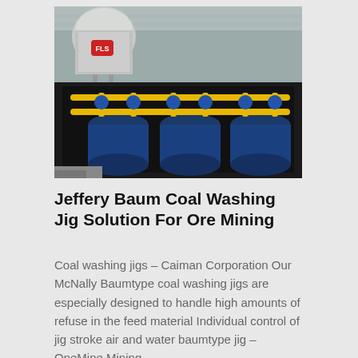[Figure (photo): Industrial mining equipment showing blue cylindrical jig machines with yellow pipe railings installed in a black pit/tank inside a facility building. A silver tank with a red logo is visible in the background upper left.]
Jeffery Baum Coal Washing Jig Solution For Ore Mining
Coal washing jigs – Caiman Corporation Our McNally Baumtype coal washing jigs are especially designed to handle high amounts of refuse in the feed material Individual control of jig stroke air and water baumtype jig – OneMine Mining